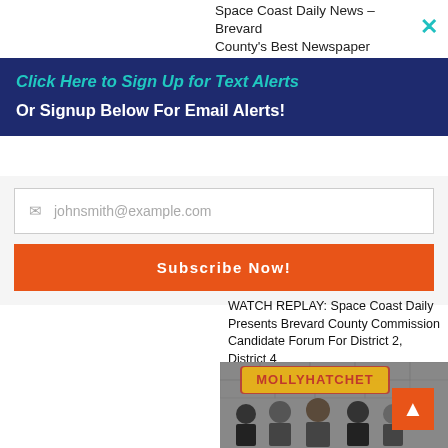Space Coast Daily News – Brevard County's Best Newspaper
Click Here to Sign Up for Text Alerts
Or Signup Below For Email Alerts!
johnsmith@example.com
Subscribe Now!
WATCH REPLAY: Space Coast Daily Presents Brevard County Commission Candidate Forum For District 2, District 4
[Figure (photo): Molly Hatchet band photo with logo showing five band members standing against a stone wall, with the Molly Hatchet logo in yellow and red above them]